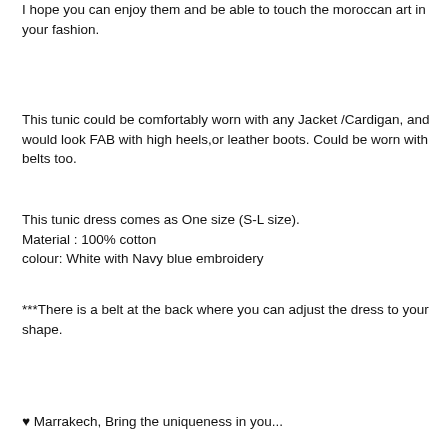I hope you can enjoy them and be able to touch the moroccan art in your fashion.
This tunic could be comfortably worn with any Jacket /Cardigan, and would look FAB with high heels,or leather boots. Could be worn with belts too.
This tunic dress comes as One size (S-L size).
Material : 100% cotton
colour: White with Navy blue embroidery
***There is a belt at the back where you can adjust the dress to your shape.
♥ Marrakech, Bring the uniqueness in you...